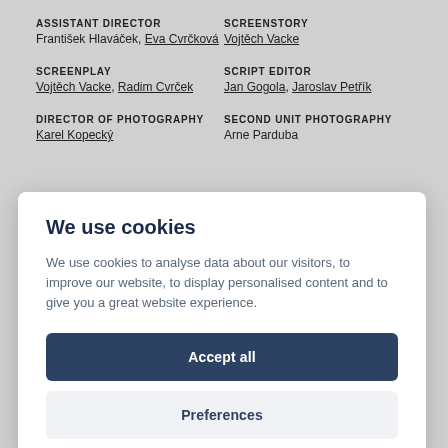ASSISTANT DIRECTOR
František Hlaváček, Eva Cvrčková
SCREENSTORY
Vojtěch Vacke
SCREENPLAY
Vojtěch Vacke, Radim Cvrček
SCRIPT EDITOR
Jan Gogola, Jaroslav Petřík
DIRECTOR OF PHOTOGRAPHY
Karel Kopecký
SECOND UNIT PHOTOGRAPHY
Arne Parduba
We use cookies
We use cookies to analyse data about our visitors, to improve our website, to display personalised content and to give you a great website experience.
Accept all
Preferences
ASSISTANT FILM EDITOR
SOUND DESIGNER